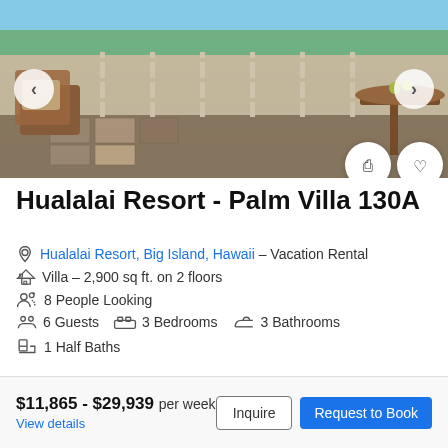[Figure (photo): Outdoor resort balcony/patio with wooden chairs, decorative pillows, a wooden table, stone tile flooring, metal railing, green lawn and ocean view in background with palm trees and blue sky.]
Hualalai Resort - Palm Villa 130A
Hualalai Resort, Big Island, Hawaii – Vacation Rental
Villa – 2,900 sq ft. on 2 floors
8 People Looking
6 Guests   3 Bedrooms   3 Bathrooms
1 Half Baths
$11,865 - $29,939 per week
View details